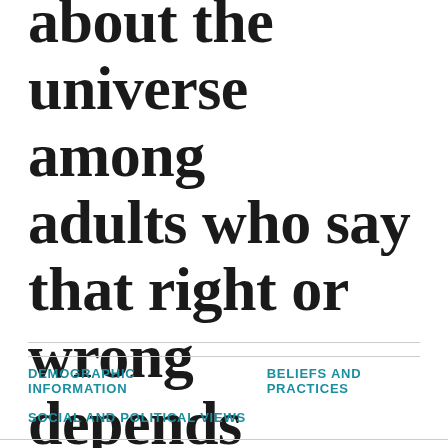about the universe among adults who say that right or wrong depends on the situation
DEMOGRAPHIC INFORMATION     BELIEFS AND PRACTICES
SOCIAL AND POLITICAL VIEWS